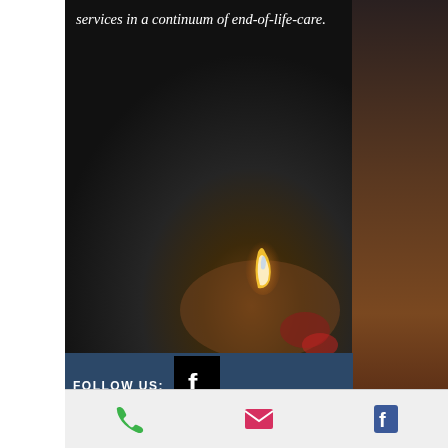services in a continuum of end-of-life-care.
[Figure (photo): Dark background photo with a candle flame visible, warm amber tones at bottom right suggesting flowers or decorative elements. End-of-life/funeral services imagery.]
FOLLOW US:
barefootfunerals@gmail.com
Phone:  0488 559595 or 0422262825
40A Hyde Street Bellingen
Barefoot Funerals/Funeral Directors is an
[Figure (infographic): Bottom navigation bar with three icons: green phone icon, pink/red email envelope icon, blue Facebook icon.]